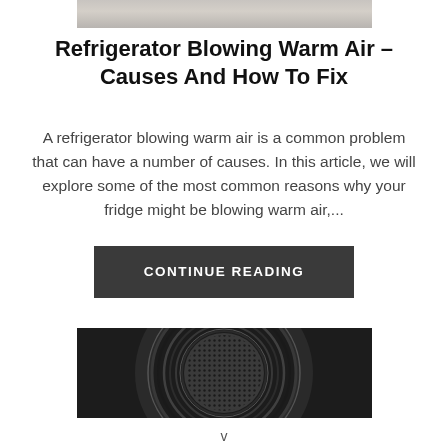[Figure (photo): Partial photo of a refrigerator or kitchen scene, cropped at top]
Refrigerator Blowing Warm Air – Causes And How To Fix
A refrigerator blowing warm air is a common problem that can have a number of causes. In this article, we will explore some of the most common reasons why your fridge might be blowing warm air,...
CONTINUE READING
[Figure (photo): Close-up photo of a circular metallic mesh/grille, likely a dryer or appliance vent]
v